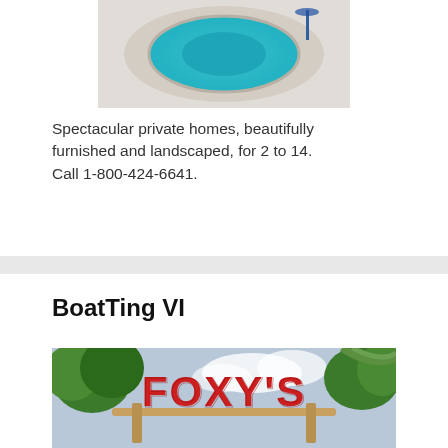[Figure (photo): Aerial view of a circular blue swimming pool/hot tub with surrounding white tile patio area]
Spectacular private homes, beautifully furnished and landscaped, for 2 to 14. Call 1-800-424-6641.
BoatTing VI
[Figure (photo): Outdoor sign reading 'Foxy's' in large red letters surrounded by tropical trees and foliage]